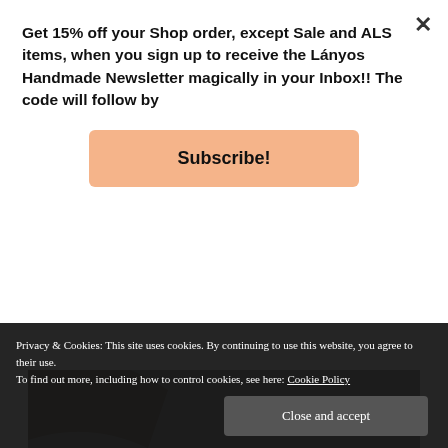Get 15% off your Shop order, except Sale and ALS items, when you sign up to receive the Lányos Handmade Newsletter magically in your Inbox!! The code will follow by
Subscribe!
[Figure (photo): A piece of cream/beige fabric or cloth laid flat on a gray textured surface, photographed from above.]
Privacy & Cookies: This site uses cookies. By continuing to use this website, you agree to their use.
To find out more, including how to control cookies, see here: Cookie Policy
Close and accept